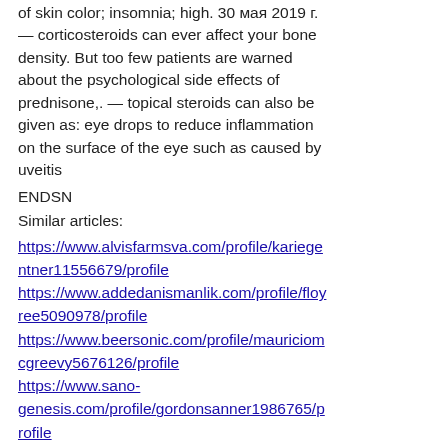of skin color; insomnia; high. 30 мая 2019 г. — corticosteroids can ever affect your bone density. But too few patients are warned about the psychological side effects of prednisone,. — topical steroids can also be given as: eye drops to reduce inflammation on the surface of the eye such as caused by uveitis
ENDSN
Similar articles:
https://www.alvisfarmsva.com/profile/kariegentner11556679/profile https://www.addedanismanlik.com/profile/floyree5090978/profile https://www.beersonic.com/profile/mauriciomcgreevy5676126/profile https://www.sano-genesis.com/profile/gordonsanner1986765/profile